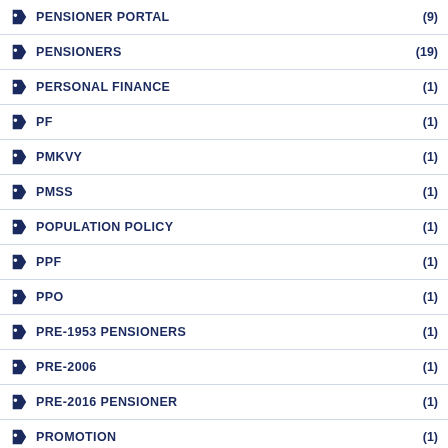PENSIONER PORTAL (9)
PENSIONERS (19)
PERSONAL FINANCE (1)
PF (1)
PMKVY (1)
PMSS (1)
POPULATION POLICY (1)
PPF (1)
PPO (1)
PRE-1953 PENSIONERS (1)
PRE-2006 (1)
PRE-2016 PENSIONER (1)
PROMOTION (1)
PROVIDENT FUND (1)